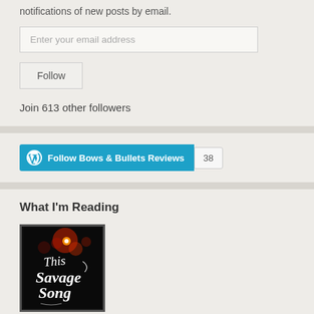notifications of new posts by email.
Enter your email address
Follow
Join 613 other followers
[Figure (other): WordPress Follow button widget showing 'Follow Bows & Bullets Reviews' in cyan/teal color with WordPress logo and count badge showing 38]
What I'm Reading
[Figure (photo): Book cover of 'This Savage Song' - dark background with red bokeh lights and white script lettering]